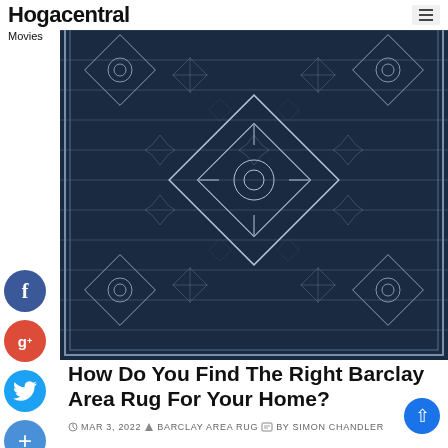Hogacentral
Movies
[Figure (photo): Dark navy blue Barclay area rug with intricate geometric and floral patterns in silver/grey]
How Do You Find The Right Barclay Area Rug For Your Home?
MAR 3, 2022  BARCLAY AREA RUG  BY SIMON CHANDLER